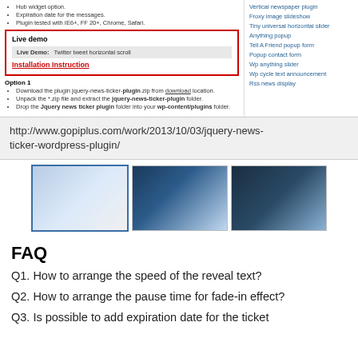Hub widget option.
Expiration date for the messages.
Plugin tested with IE6+, FF 20+, Chrome, Safari.
[Figure (screenshot): Live demo box with red border showing Live Demo label and Twitter tweet horizontal scroll demo bar]
Installation Instruction
Option 1
Download the plugin jquery-news-ticker-plugin.zip from download location.
Unpack the *.zip file and extract the jquery-news-ticker-plugin folder.
Drop the Jquery news ticker plugin folder into your wp-content/plugins folder.
Vertical newspaper plugin
Froxy image slideshow
Tiny universal horizontal slider
Anything popup
Tell A Friend popup form
Popup contact form
Wp anything slider
Wp cycle text announcement
Rss news display
http://www.gopiplus.com/work/2013/10/03/jquery-news-ticker-wordpress-plugin/
[Figure (screenshot): Three screenshot thumbnails of the plugin in use]
FAQ
Q1. How to arrange the speed of the reveal text?
Q2. How to arrange the pause time for fade-in effect?
Q3. Is possible to add expiration date for the ticket